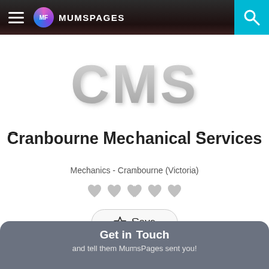MumsPages
[Figure (logo): CMS logo in large 3D grey block letters]
Cranbourne Mechanical Services
Mechanics - Cranbourne (Victoria)
[Figure (other): Five heart rating icons in grey]
Save
Get in Touch
and tell them MumsPages sent you!